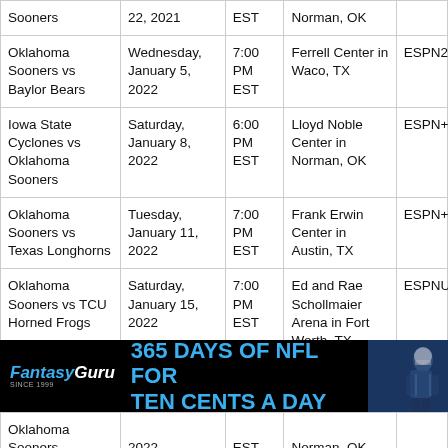| Game | Date | Time | Venue | TV |
| --- | --- | --- | --- | --- |
| Sooners | 22, 2021 | EST | Norman, OK |  |
| Oklahoma Sooners vs Baylor Bears | Wednesday, January 5, 2022 | 7:00 PM EST | Ferrell Center in Waco, TX | ESPN2 |
| Iowa State Cyclones vs Oklahoma Sooners | Saturday, January 8, 2022 | 6:00 PM EST | Lloyd Noble Center in Norman, OK | ESPN+ |
| Oklahoma Sooners vs Texas Longhorns | Tuesday, January 11, 2022 | 7:00 PM EST | Frank Erwin Center in Austin, TX | ESPN+ |
| Oklahoma Sooners vs TCU Horned Frogs | Saturday, January 15, 2022 | 7:00 PM EST | Ed and Rae Schollmaier Arena in Fort Worth, TX | ESPNU |
| Oklahoma Sooners | 2022 | EST | Norman, OK |  |
[Figure (infographic): FantasyGuru advertisement banner: '365 DAYS OF NFL FOR TEN CENTS A DAY' with football player photo]